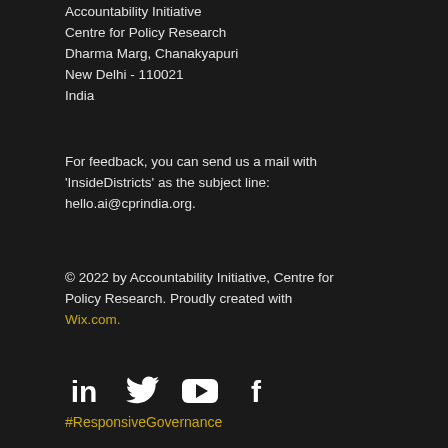Accountability Initiative
Centre for Policy Research
Dharma Marg, Chanakyapuri
New Delhi - 110021
India
For feedback, you can send us a mail with 'InsideDistricts' as the subject line: hello.ai@cprindia.org.
© 2022 by Accountability Initiative, Centre for Policy Research. Proudly created with Wix.com.
[Figure (illustration): Four social media icons in white: LinkedIn, Twitter, YouTube, Facebook]
#ResponsiveGovernance